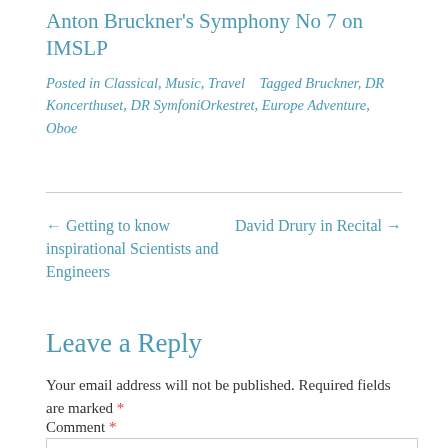Anton Bruckner's Symphony No 7 on IMSLP
Posted in Classical, Music, Travel   Tagged Bruckner, DR Koncerthuset, DR SymfoniOrkestret, Europe Adventure, Oboe
← Getting to know inspirational Scientists and Engineers
David Drury in Recital →
Leave a Reply
Your email address will not be published. Required fields are marked *
Comment *